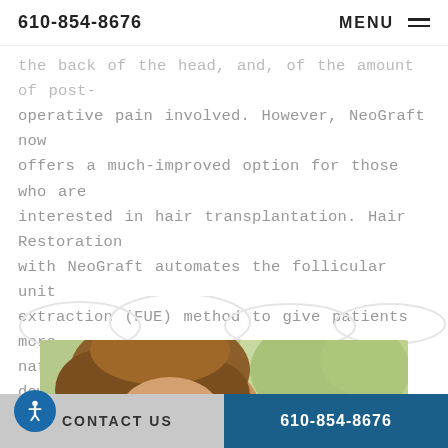610-854-8676   MENU
the back of the head, and, of the amount of post-operative pain involved. However, NeoGraft now offers a much-improved option for those who are interested in hair transplantation. Hair Restoration with NeoGraft automates the follicular unit extraction (FUE) method to give patients more natural-looking results with minimal downtime, no linear scarring, and no stitches.
[Figure (photo): Photo of a woman with curly hair and sunglasses, with blurred green trees in background]
CONTACT US   610-854-8676